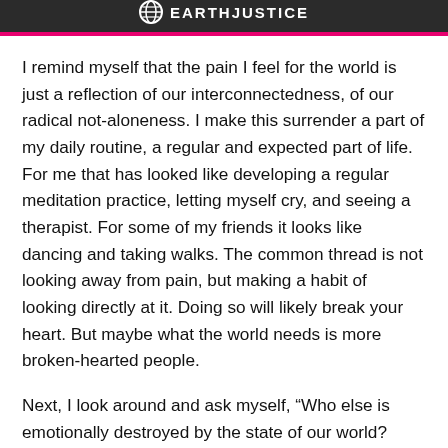EARTHJUSTICE
I remind myself that the pain I feel for the world is just a reflection of our interconnectedness, of our radical not-aloneness. I make this surrender a part of my daily routine, a regular and expected part of life. For me that has looked like developing a regular meditation practice, letting myself cry, and seeing a therapist. For some of my friends it looks like dancing and taking walks. The common thread is not looking away from pain, but making a habit of looking directly at it. Doing so will likely break your heart. But maybe what the world needs is more broken-hearted people.
Next, I look around and ask myself, “Who else is emotionally destroyed by the state of our world? What are they doing about it? How can I help?”
I ask and answer these questions on a constant basis